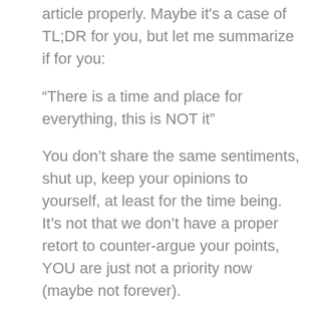article properly. Maybe it's a case of TL;DR for you, but let me summarize if for you:
“There is a time and place for everything, this is NOT it”
You don’t share the same sentiments, shut up, keep your opinions to yourself, at least for the time being. It’s not that we don’t have a proper retort to counter-argue your points, YOU are just not a priority now (maybe not forever).
Don’t be that ass clown going